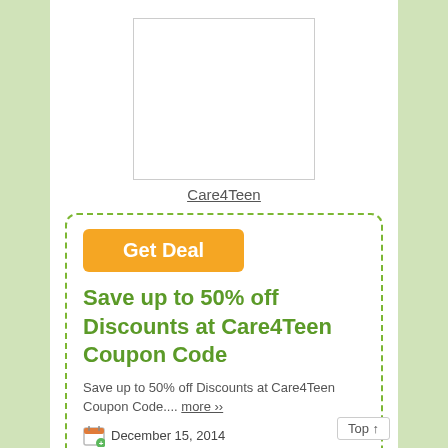[Figure (logo): Care4Teen logo placeholder box, white rectangle with border]
Care4Teen
[Figure (infographic): Coupon card with dashed green border containing deal information]
Get Deal
Save up to 50% off Discounts at Care4Teen Coupon Code
Save up to 50% off Discounts at Care4Teen Coupon Code.... more ›› December 15, 2014
Category: Computer Software, Software
Comments Off
Report Coupon
Top ↑